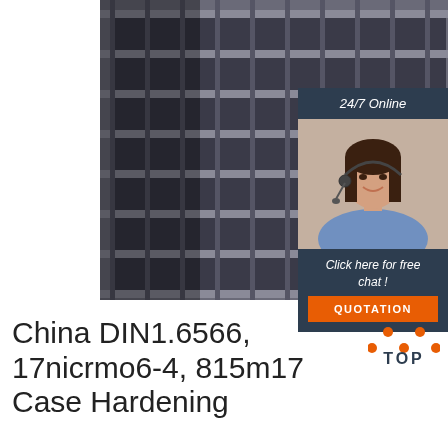[Figure (photo): Stacked steel I-beams/H-beams viewed from the side, showing a grid of steel channel sections in dark gray metallic color]
[Figure (infographic): 24/7 Online chat widget with a woman wearing a headset, 'Click here for free chat!' text and an orange QUOTATION button]
China DIN1.6566, 17nicrmo6-4, 815m17 Case Hardening
[Figure (logo): TOP badge with orange dots arranged in triangle pattern and TOP text in dark blue]